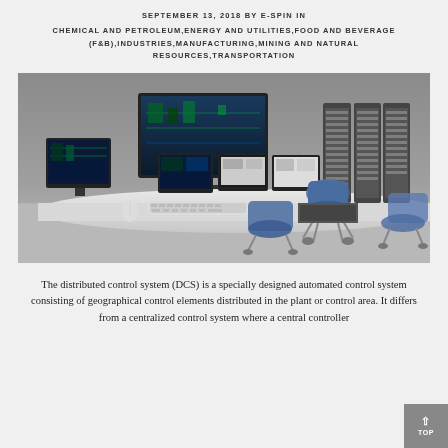SEPTEMBER 13, 2018 by E-SPIN in
CHEMICAL AND PETROLEUM,ENERGY AND UTILITIES,FOOD AND BEVERAGE (F&B),INDUSTRIES,MANUFACTURING,MINING AND NATURAL RESOURCES,TRANSPORTATION
[Figure (photo): Industrial control room with multiple computer monitors displaying process control software (DCS screens), a large wall-mounted display, operator workstations with keyboards and mice, blue office chairs, and server/equipment racks in the background.]
The distributed control system (DCS) is a specially designed automated control system consisting of geographical control elements distributed in the plant or control area. It differs from a centralized control system where a central controller